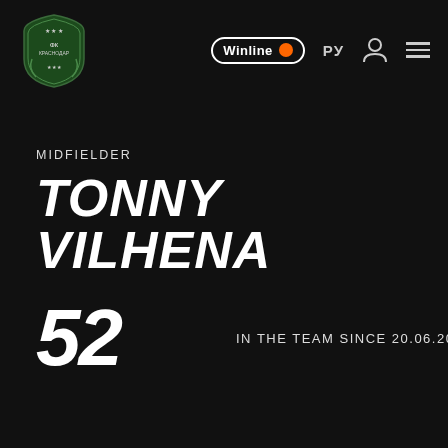[Figure (logo): FC Krasnodar football club crest/badge in green and white, positioned top left]
Winline | РУ | user icon | menu
MIDFIELDER
TONNY VILHENA
52
IN THE TEAM SINCE 20.06.2019